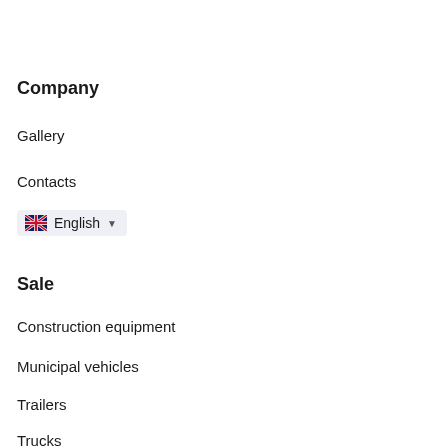Company
Gallery
Contacts
[Figure (other): Language selector button showing UK flag and 'English' with dropdown arrow]
Sale
Construction equipment
Municipal vehicles
Trailers
Trucks